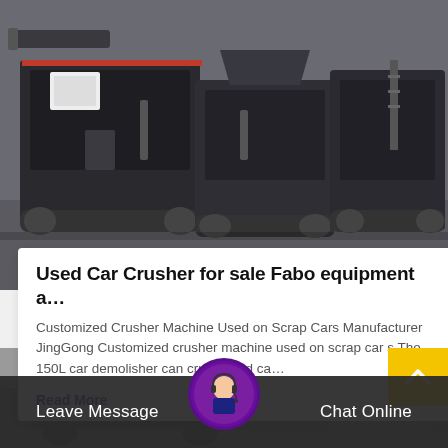[Figure (photo): Industrial mobile crusher machines lined up on pavement, heavy equipment with tracks and metal framework]
Used Car Crusher for sale Fabo equipment a…
Customized Crusher Machine Used on Scrap Cars Manufacturer JingGong Customized crusher machine used on scrap car s The 150L car demolisher can crush used ca…
Read More
[Figure (photo): Partial view of another crusher or heavy equipment in outdoor setting]
Leave Message   Chat Online